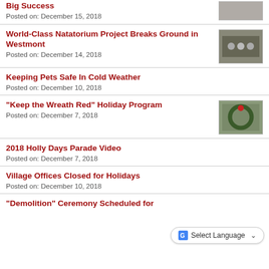Big Success
Posted on: December 15, 2018
World-Class Natatorium Project Breaks Ground in Westmont
Posted on: December 14, 2018
Keeping Pets Safe In Cold Weather
Posted on: December 10, 2018
“Keep the Wreath Red” Holiday Program
Posted on: December 7, 2018
2018 Holly Days Parade Video
Posted on: December 7, 2018
Village Offices Closed for Holidays
Posted on: December 10, 2018
“Demolition” Ceremony Scheduled for